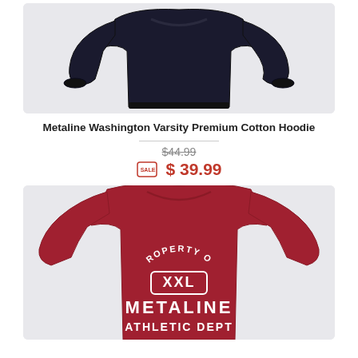[Figure (photo): Dark navy/black premium cotton hoodie sweatshirt laid flat on a light grey background]
Metaline Washington Varsity Premium Cotton Hoodie
$44.99 (strikethrough original price)
$ 39.99 (sale price with sale tag icon)
[Figure (photo): Crimson/dark red t-shirt with white text reading PROPERTY OF XXL METALINE ATHLETIC DEPT in varsity style lettering]